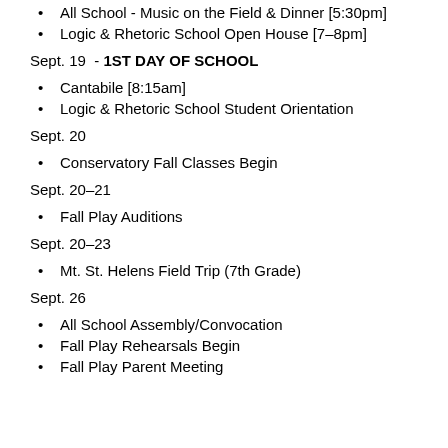All School - Music on the Field & Dinner [5:30pm]
Logic & Rhetoric School Open House [7–8pm]
Sept. 19  - 1ST DAY OF SCHOOL
Cantabile [8:15am]
Logic & Rhetoric School Student Orientation
Sept. 20
Conservatory Fall Classes Begin
Sept. 20–21
Fall Play Auditions
Sept. 20–23
Mt. St. Helens Field Trip (7th Grade)
Sept. 26
All School Assembly/Convocation
Fall Play Rehearsals Begin
Fall Play Parent Meeting